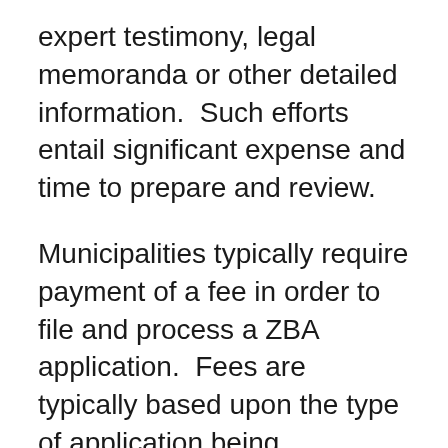expert testimony, legal memoranda or other detailed information.  Such efforts entail significant expense and time to prepare and review.
Municipalities typically require payment of a fee in order to file and process a ZBA application.  Fees are typically based upon the type of application being considered.  For example, applications requiring expert review or legal argument are more time-consuming and costly and may be associated with a higher fee.  Similarly, applications by owners who seek to legalize an existing illegal structure by